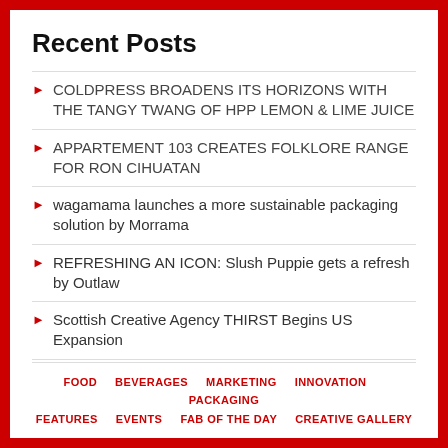Recent Posts
COLDPRESS BROADENS ITS HORIZONS WITH THE TANGY TWANG OF HPP LEMON & LIME JUICE
APPARTEMENT 103 CREATES FOLKLORE RANGE FOR RON CIHUATAN
wagamama launches a more sustainable packaging solution by Morrama
REFRESHING AN ICON: Slush Puppie gets a refresh by Outlaw
Scottish Creative Agency THIRST Begins US Expansion
FOOD  BEVERAGES  MARKETING  INNOVATION  PACKAGING  FEATURES  EVENTS  FAB OF THE DAY  CREATIVE GALLERY